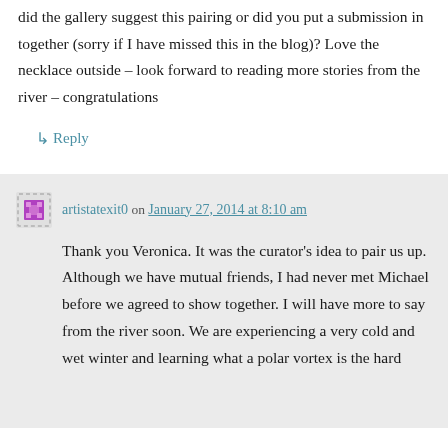did the gallery suggest this pairing or did you put a submission in together (sorry if I have missed this in the blog)? Love the necklace outside – look forward to reading more stories from the river – congratulations
↳ Reply
artistatexit0 on January 27, 2014 at 8:10 am
Thank you Veronica. It was the curator's idea to pair us up. Although we have mutual friends, I had never met Michael before we agreed to show together. I will have more to say from the river soon. We are experiencing a very cold and wet winter and learning what a polar vortex is the hard